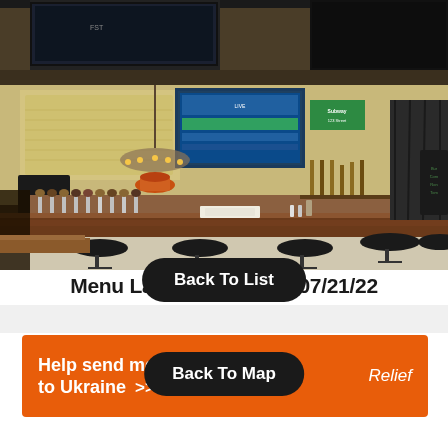[Figure (photo): Interior photo of a bar showing beer taps, bar stools, TV screens, chandelier lighting, liquor bottles on shelves, and a menu board on the wall.]
Menu Last Updated On 07/21/22
Back To List
Help send medical supplies to Ukraine >> Relief
Back To Map